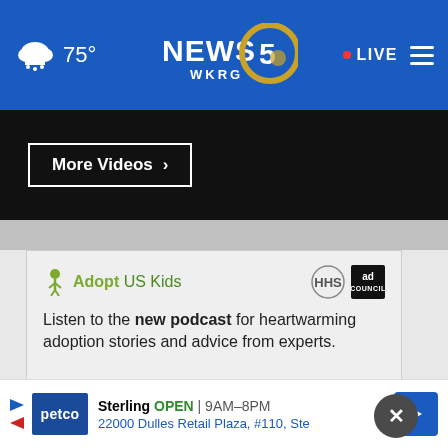75° NEWS 5 WKRG • LIVE
[Figure (screenshot): WKRG News 5 website header with weather (cloud/snow icon, 75°), NEWS 5 WKRG logo, red dot LIVE indicator, and hamburger menu]
More Videos ›
[Figure (infographic): AdoptUSKids advertisement. Logo with person icon and text 'Adopt US Kids' with HHS and Ad Council logos. Text: Listen to the new podcast for heartwarming adoption stories and advice from experts. LEARN MORE › button. Close X button.]
Sterling OPEN | 9AM–8PM 22000 Dulles Retail Plaza, #110, Ste